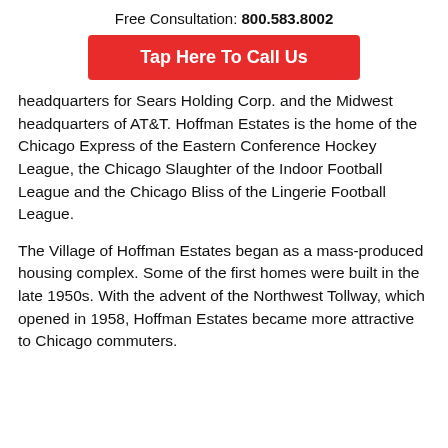Free Consultation: 800.583.8002
Tap Here To Call Us
headquarters for Sears Holding Corp. and the Midwest headquarters of AT&T. Hoffman Estates is the home of the Chicago Express of the Eastern Conference Hockey League, the Chicago Slaughter of the Indoor Football League and the Chicago Bliss of the Lingerie Football League.
The Village of Hoffman Estates began as a mass-produced housing complex. Some of the first homes were built in the late 1950s. With the advent of the Northwest Tollway, which opened in 1958, Hoffman Estates became more attractive to Chicago commuters.